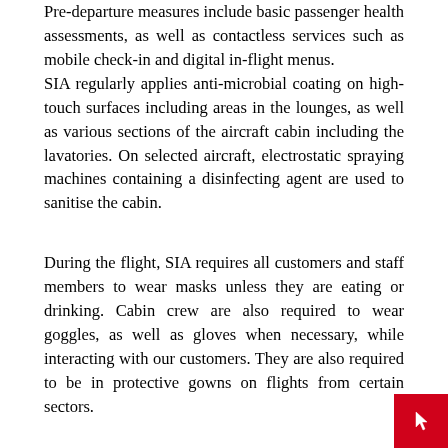Pre-departure measures include basic passenger health assessments, as well as contactless services such as mobile check-in and digital in-flight menus. SIA regularly applies anti-microbial coating on high-touch surfaces including areas in the lounges, as well as various sections of the aircraft cabin including the lavatories. On selected aircraft, electrostatic spraying machines containing a disinfecting agent are used to sanitise the cabin.
During the flight, SIA requires all customers and staff members to wear masks unless they are eating or drinking. Cabin crew are also required to wear goggles, as well as gloves when necessary, while interacting with our customers. They are also required to be in protective gowns on flights from certain sectors.
While all physical newspapers and magazines have been removed, SIA offers customers a free e-Library via their personal tablets and mobile devices that provides access to more than 1,000 global publications. Meal services have been simplified to reduce contact, but SIA has managed reintroduce favourites such as its satay and garlic bread